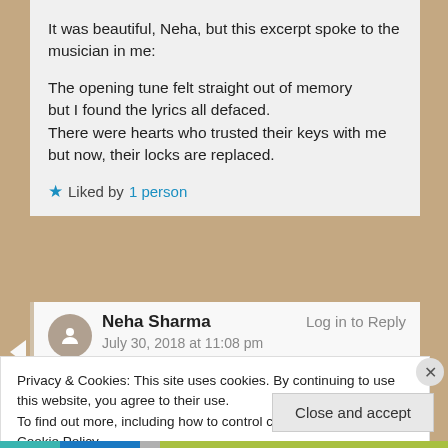It was beautiful, Neha, but this excerpt spoke to the musician in me:
The opening tune felt straight out of memory
but I found the lyrics all defaced.
There were hearts who trusted their keys with me
but now, their locks are replaced.
★ Liked by 1 person
Neha Sharma   Log in to Reply
July 30, 2018 at 11:08 pm
Privacy & Cookies: This site uses cookies. By continuing to use this website, you agree to their use.
To find out more, including how to control cookies, see here: Cookie Policy
Close and accept